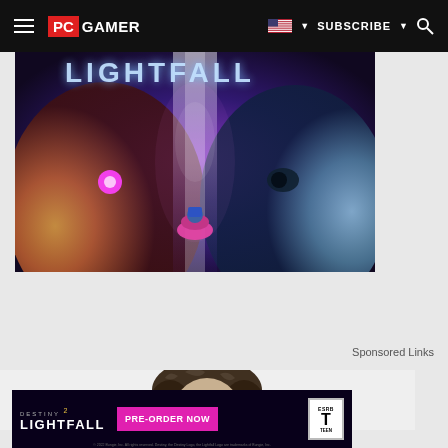PC GAMER | SUBSCRIBE
[Figure (photo): Destiny 2 Lightfall promotional art showing two large alien faces flanking a small human figure, with 'LIGHTFALL' text at the top in glowing letters]
Sponsored Links
[Figure (photo): Sponsored content card showing a person with dark curly hair]
[Figure (photo): Destiny 2 Lightfall pre-order advertisement banner with 'PRE-ORDER NOW' button and ESRB Teen rating]